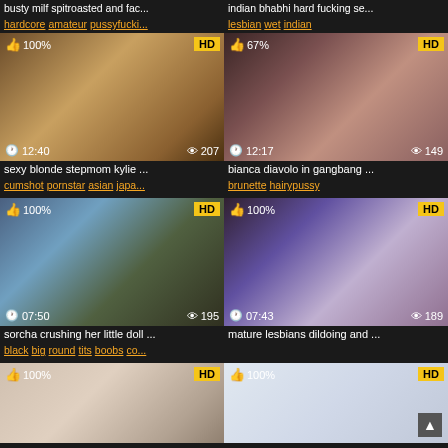busty milf spitroasted and fac... | indian bhabhi hard fucking se...
hardcore amateur pussyfucki... | lesbian wet indian
[Figure (screenshot): Video thumbnail grid showing adult video website with thumbnails, titles, tags, duration, view counts, HD badges and like percentages]
sexy blonde stepmom kylie ... | bianca diavolo in gangbang ...
cumshot pornstar asian japa... | brunette hairypussy
sorcha crushing her little doll ... | mature lesbians dildoing and ...
black big round tits boobs co...